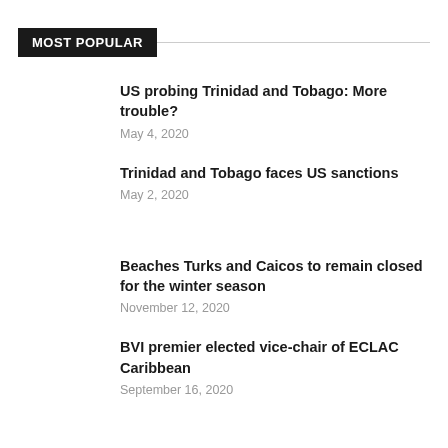MOST POPULAR
US probing Trinidad and Tobago: More trouble?
May 4, 2020
Trinidad and Tobago faces US sanctions
May 2, 2020
Beaches Turks and Caicos to remain closed for the winter season
November 12, 2020
BVI premier elected vice-chair of ECLAC Caribbean
September 16, 2020